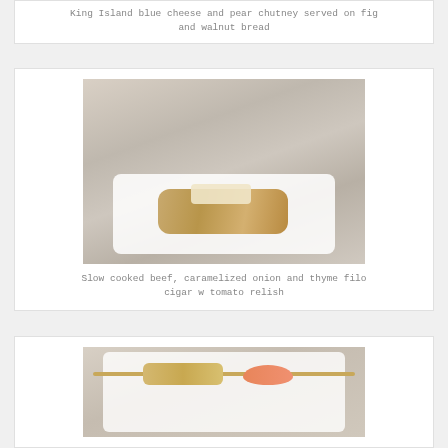King Island blue cheese and pear chutney served on fig and walnut bread
[Figure (photo): A filo pastry cigar roll topped with garnish on a white plate]
Slow cooked beef, caramelized onion and thyme filo cigar w tomato relish
[Figure (photo): A shrimp skewer with coating on a white plate]